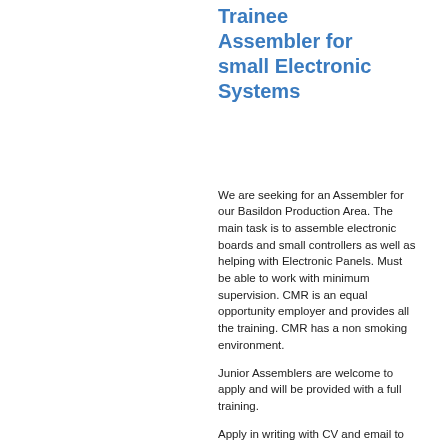Trainee Assembler for small Electronic Systems
We are seeking for an Assembler for our Basildon Production Area. The main task is to assemble electronic boards and small controllers as well as helping with Electronic Panels. Must be able to work with minimum supervision. CMR is an equal opportunity employer and provides all the training. CMR has a non smoking environment.
Junior Assemblers are welcome to apply and will be provided with a full training.
Apply in writing with CV and email to
Private and Confidential
The HR - Manager
CMR CONTROLS LTD.
22 Repton Court - Repton Close
Basildon Essex SS13 1LN